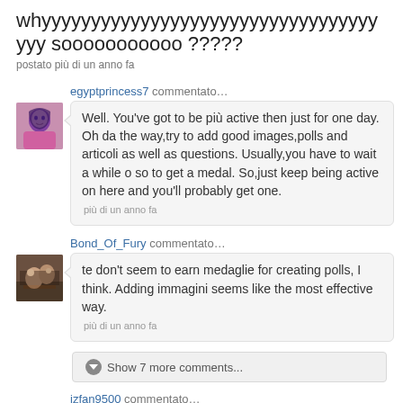whyyyyyyyyyyyyyyyyyyyyyyyyyyyyyyyyyyyyy sooooooooooo ?????
postato più di un anno fa
egyptprincess7 commentato…
Well. You've got to be più active then just for one day. Oh da the way,try to add good images,polls and articoli as well as questions. Usually,you have to wait a while o so to get a medal. So,just keep being active on here and you'll probably get one.
più di un anno fa
Bond_Of_Fury commentato…
te don't seem to earn medaglie for creating polls, I think. Adding immagini seems like the most effective way.
più di un anno fa
Show 7 more comments...
izfan9500 commentato…
I've been on here for 8 months, and I still haven't gotten a medal, and